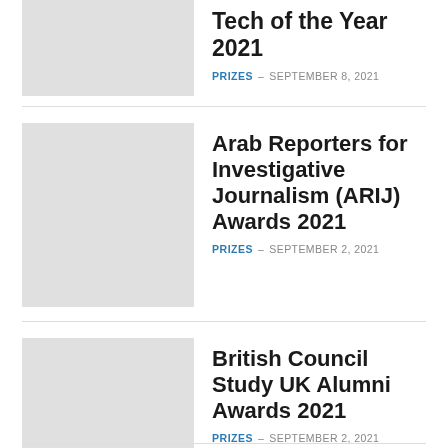[Figure (photo): Gray placeholder thumbnail image for first article (partially visible at top)]
Tech of the Year 2021
PRIZES – SEPTEMBER 8, 2021
[Figure (photo): Gray placeholder thumbnail image for Arab Reporters article]
Arab Reporters for Investigative Journalism (ARIJ) Awards 2021
PRIZES – SEPTEMBER 2, 2021
[Figure (photo): Gray placeholder thumbnail image for British Council article]
British Council Study UK Alumni Awards 2021
PRIZES – SEPTEMBER 2, 2021